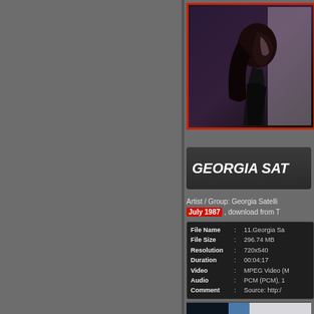[Figure (screenshot): Video player screenshot showing a dark silhouette profile of a person with long hair against a light background, with red border frame]
GEORGIA SAT
Artist / Group: Georgia Satelli  July 1987 , download from T
| File Name | : | 11.Georgia Sa |
| File Size | : | 296.74 MB |
| Resolution | : | 720x540 |
| Duration | : | 00:04:17 |
| Video | : | MPEG Video (M |
| Audio | : | PCM (PCM), 1 |
| Comment | : | Source: http:/ |
[Figure (screenshot): Bottom partial video thumbnail showing blue and white tones]